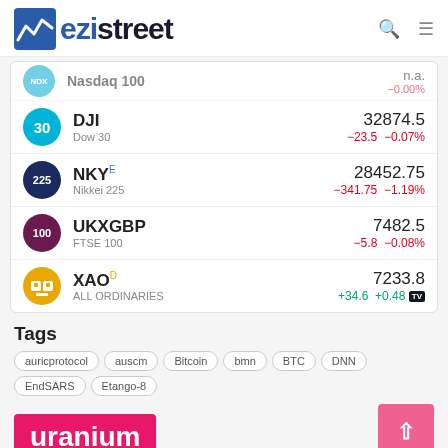ezistreet
Nasdaq 100 — partial row (scrolled)
DJI — Dow 30 — 32874.5 — −23.5 −0.07%
NKY E — Nikkei 225 — 28452.75 — −341.75 −1.19%
UKXGBP — FTSE 100 — 7482.5 — −5.8 −0.08%
XAO D — ALL ORDINARIES — 7233.8 — +34.6 +0.48
Tags
auricprotocol
auscm
Bitcoin
bmn
BTC
DNN
EndSARS
Etango-8
uranium